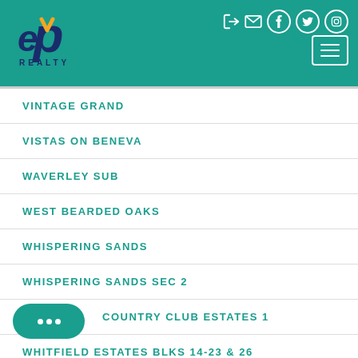eXp Realty - navigation header with logo and icons
VINTAGE GRAND
VISTAS ON BENEVA
WAVERLEY SUB
WEST BEARDED OAKS
WHISPERING SANDS
WHISPERING SANDS SEC 2
COUNTRY CLUB ESTATES 1
WHITFIELD ESTATES BLKS 14-23 & 26